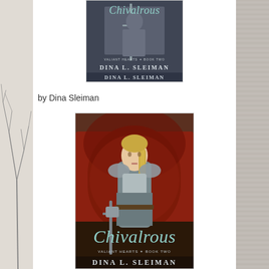[Figure (photo): Book cover of 'Chivalrous' by Dina L. Sleiman, Valiant Hearts Book Two - small version showing armored figure with sword]
by Dina Sleiman
[Figure (photo): Book cover of 'Chivalrous' by Dina L. Sleiman, Valiant Hearts Book Two - large version showing blonde woman in chainmail armor holding a sword against a red shield background]